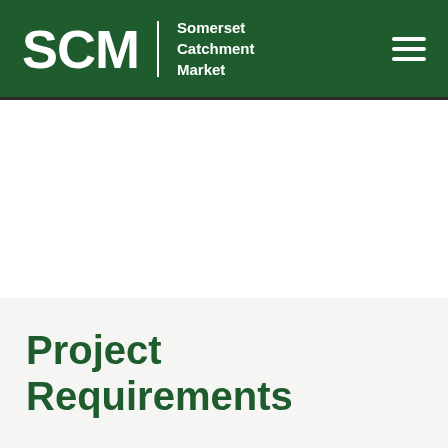SCM Somerset Catchment Market
Project Requirements